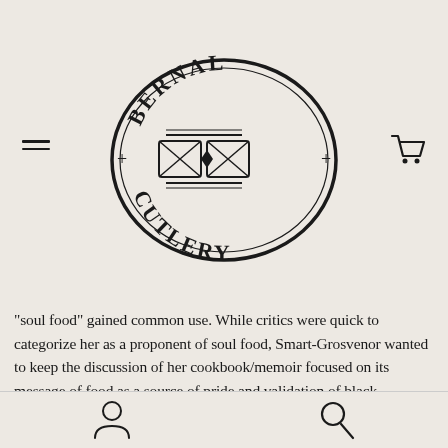[Figure (logo): Bernal Cutlery oval logo with decorative knife/cutlery motif in the center, text 'BERNAL' on top arc and 'CUTLERY' on bottom arc, with plus signs on left and right sides]
“soul food” gained common use. While critics were quick to categorize her as a proponent of soul food, Smart-Grosvenor wanted to keep the discussion of her cookbook/memoir focused on its message of food as a source of pride and validation of black womanhood and black “consciousness raising.”
In 1959, at the age of nineteen, Smart-Grosvenor sailed to Europe, “where the bohemians lived and let live.” Among the cosmopolites of radical Paris, the Gullah girl from the South Carolina low country quickly realized that the most universal lingua franca is a well-cooked meal. As she recounts a cool cat’s nine lives as chanter, dancer, costume designer, and member of the Sun Ra Solar-Myth Arkestra, Smart-Grosvenor introduces us to a rich cast of characters. We meet Estella
User icon and Search icon navigation